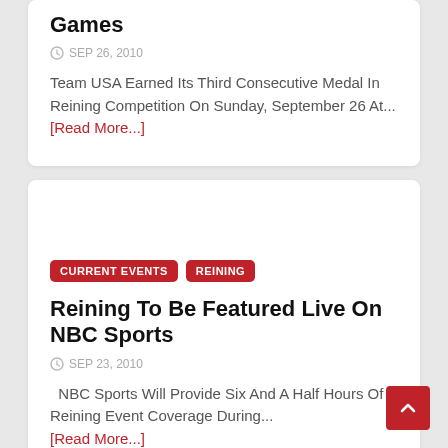Games
SEP 26, 2010
Team USA Earned Its Third Consecutive Medal In Reining Competition On Sunday, September 26 At... [Read More...]
CURRENT EVENTS  REINING
Reining To Be Featured Live On NBC Sports
SEP 23, 2010
NBC Sports Will Provide Six And A Half Hours Of Reining Event Coverage During... [Read More...]